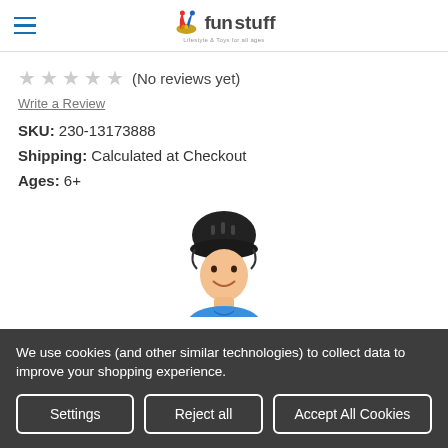Little Fun Stuff — Lifestyle & Toys for all ages
★★★★★ (No reviews yet)
Write a Review
SKU: 230-13173888
Shipping: Calculated at Checkout
Ages: 6+
[Figure (photo): Boy wearing a black bicycle/skating helmet, smiling, wearing a blue t-shirt]
We use cookies (and other similar technologies) to collect data to improve your shopping experience.
[Settings] [Reject all] [Accept All Cookies]